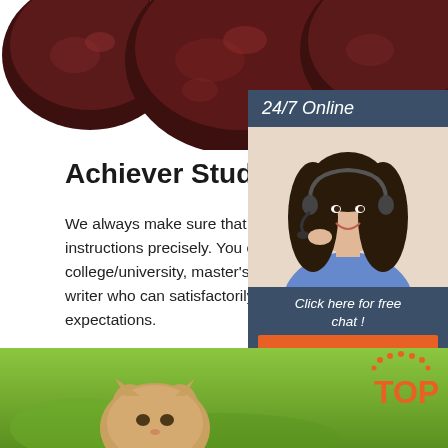[Figure (photo): Chocolate covered apples/treats, dark reddish-brown, visible at top of page]
Achiever Student:
We always make sure that writers follow all your instructions precisely. You can choose your academic level: high school, college/university, master's or pHD, and we will assign you a writer who can satisfactorily meet your professor's expectations.
[Figure (infographic): Sidebar widget with '24/7 Online' header, photo of smiling woman with headset, 'Click here for free chat!' text, and QUOTATION button in orange]
[Figure (photo): Green background with animal (cat/dog) and TOP branding logo in orange at bottom of page]